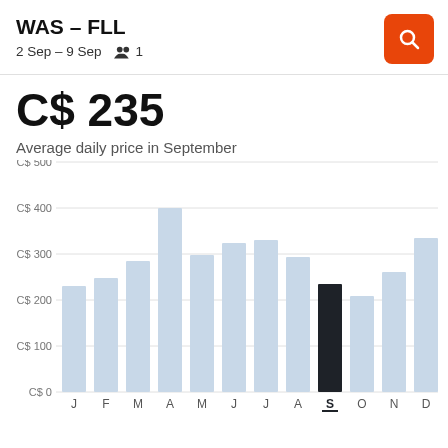WAS – FLL
2 Sep – 9 Sep   👥 1
C$ 235
Average daily price in September
[Figure (bar-chart): Average daily price by month]